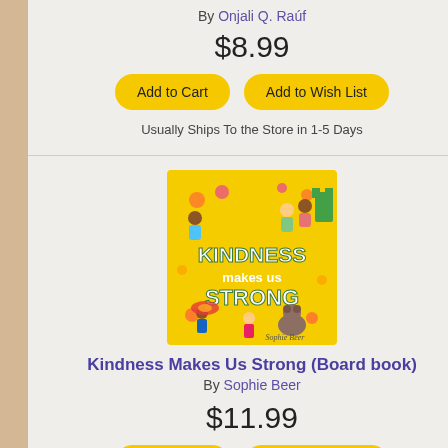By Onjali Q. Raúf
$8.99
Add to Cart
Add to Wish List
Usually Ships To the Store in 1-5 Days
[Figure (photo): Book cover of 'Kindness Makes Us Strong' by Sophie Beer — bright yellow background with illustrated children playing, text in white bold letters]
Kindness Makes Us Strong (Board book)
By Sophie Beer
$11.99
Add to Cart
Add to Wish List
Usually Ships To the Store in 1-5 Days
[Figure (photo): Partial book cover showing 'BRIGHT' text on a peach/salmon background]